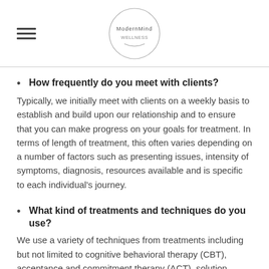ModernMind Wellness
How frequently do you meet with clients?
Typically, we initially meet with clients on a weekly basis to establish and build upon our relationship and to ensure that you can make progress on your goals for treatment. In terms of length of treatment, this often varies depending on a number of factors such as presenting issues, intensity of symptoms, diagnosis, resources available and is specific to each individual's journey.
What kind of treatments and techniques do you use?
We use a variety of techniques from treatments including but not limited to cognitive behavioral therapy (CBT), acceptance and commitment therapy (ACT), solution focused therapies, experiential therapies